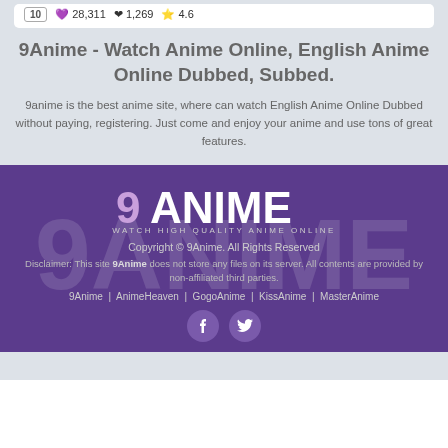10  28,311  1,269  4.6
9Anime - Watch Anime Online, English Anime Online Dubbed, Subbed.
9anime is the best anime site, where can watch English Anime Online Dubbed without paying, registering. Just come and enjoy your anime and use tons of great features.
[Figure (logo): 9ANIME logo with tagline WATCH HIGH QUALITY ANIME ONLINE on purple background]
Copyright © 9Anime. All Rights Reserved
Disclaimer: This site 9Anime does not store any files on its server. All contents are provided by non-affiliated third parties.
9Anime  |  AnimeHeaven  |  GogoAnime  |  KissAnime  |  MasterAnime